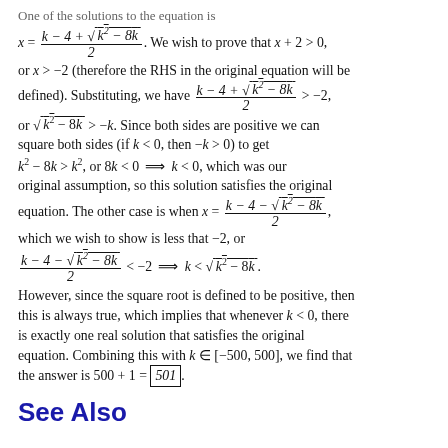One of the solutions to the equation is x = (k − 4 + √(k²−8k)) / 2. We wish to prove that x + 2 > 0, or x > −2 (therefore the RHS in the original equation will be defined). Substituting, we have (k − 4 + √(k²−8k)) / 2 > −2, or √(k²−8k) > −k. Since both sides are positive we can square both sides (if k < 0, then −k > 0) to get k² − 8k > k², or 8k < 0 ⟹ k < 0, which was our original assumption, so this solution satisfies the original equation. The other case is when x = (k − 4 − √(k²−8k)) / 2, which we wish to show is less that −2, or (k − 4 − √(k²−8k)) / 2 < −2 ⟹ k < √(k²−8k). However, since the square root is defined to be positive, then this is always true, which implies that whenever k < 0, there is exactly one real solution that satisfies the original equation. Combining this with k ∈ [−500, 500], we find that the answer is 500 + 1 = 501.
See Also